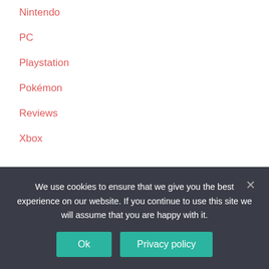Nintendo
PC
Playstation
Pokémon
Reviews
Xbox
META
Log in
We use cookies to ensure that we give you the best experience on our website. If you continue to use this site we will assume that you are happy with it.
Ok
Privacy policy